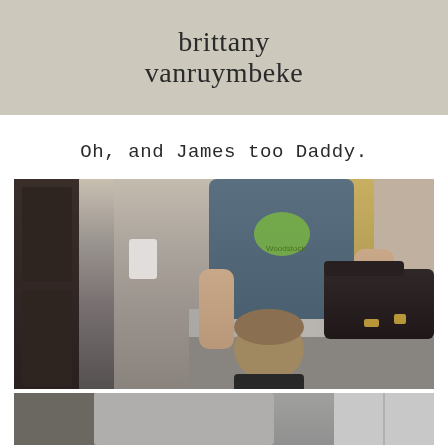brittany vanruymbeke
Oh, and James too Daddy.
[Figure (photo): A man in a blue Woodstock t-shirt stands at a kitchen counter with a black leather bag, while a young child with brown hair clings to his legs and leans against the counter.]
[Figure (photo): Partial view of a second photograph at the bottom of the page, showing a person in a gray shirt near what appears to be a refrigerator.]